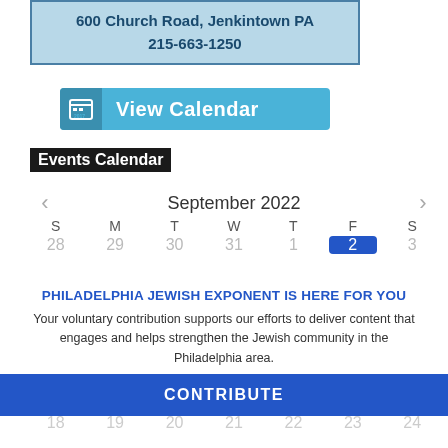600 Church Road, Jenkintown PA
215-663-1250
[Figure (screenshot): View Calendar button with calendar icon]
Events Calendar
September 2022
[Figure (other): September 2022 calendar grid showing days S M T W T F S with date row 28 29 30 31 1 2 3 and row 18 19 20 21 22 23 24]
PHILADELPHIA JEWISH EXPONENT IS HERE FOR YOU
Your voluntary contribution supports our efforts to deliver content that engages and helps strengthen the Jewish community in the Philadelphia area.
CONTRIBUTE